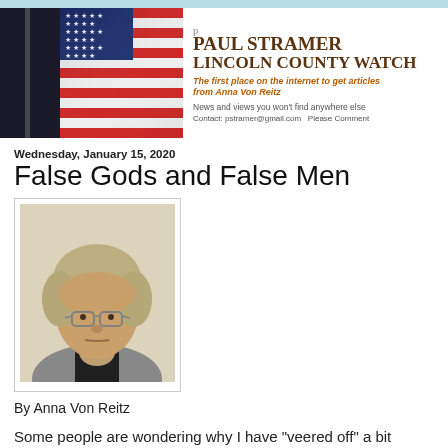PAUL STRAMER LINCOLN COUNTY WATCH — The first place on the internet to get articles from Anna Von Reitz — News and views you won't find anywhere else — Contact: pstramer@gmail.com  Please Comment
Wednesday, January 15, 2020
False Gods and False Men
[Figure (photo): Portrait photo of Anna Von Reitz, an older woman with short gray-blonde hair and glasses, wearing a gray jacket, looking seriously at camera against a light beige background.]
By Anna Von Reitz
Some people are wondering why I have "veered off" a bit